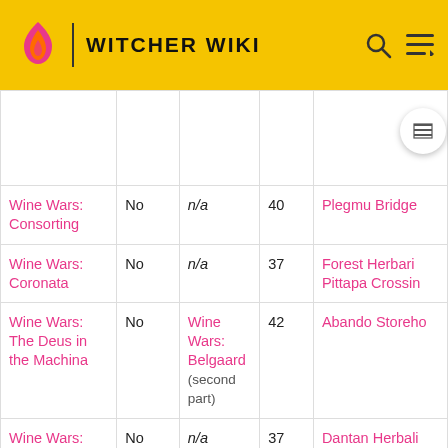WITCHER WIKI
| Quest | Missable | Preceding Quest | Level | Location |
| --- | --- | --- | --- | --- |
|  |  |  |  |  |
| Wine Wars: Consorting | No | n/a | 40 | Plegmu Bridge |
| Wine Wars: Coronata | No | n/a | 37 | Forest Herbari Pittapa Crossin |
| Wine Wars: The Deus in the Machina | No | Wine Wars: Belgaard (second part) | 42 | Abando Storeho |
| Wine Wars: Vermontino | No | n/a | 37 | Dantan Herbali |